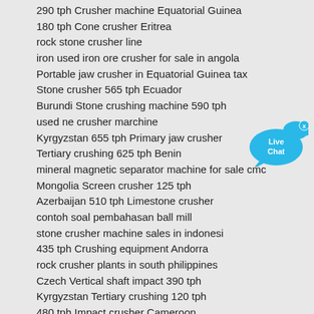290 tph Crusher machine Equatorial Guinea
180 tph Cone crusher Eritrea
rock stone crusher line
iron used iron ore crusher for sale in angola
Portable jaw crusher in Equatorial Guinea tax
Stone crusher 565 tph Ecuador
Burundi Stone crushing machine 590 tph
used ne crusher marchine
Kyrgyzstan 655 tph Primary jaw crusher
Tertiary crushing 625 tph Benin
mineral magnetic separator machine for sale cmc
Mongolia Screen crusher 125 tph
Azerbaijan 510 tph Limestone crusher
contoh soal pembahasan ball mill
stone crusher machine sales in indonesi
435 tph Crushing equipment Andorra
rock crusher plants in south philippines
Czech Vertical shaft impact 390 tph
Kyrgyzstan Tertiary crushing 120 tph
480 tph Impact crusher Cameroon
crusher plant in faridabad used
Dijual Mobile Crusher Untuk Batubara
Finland Quarry machine 110 tph
Hungary 335 tph Limestone crusher
design for coal washing plant in malaysia
[Figure (illustration): Live Chat button widget — blue speech bubble with a fish icon and 'Live Chat' text]